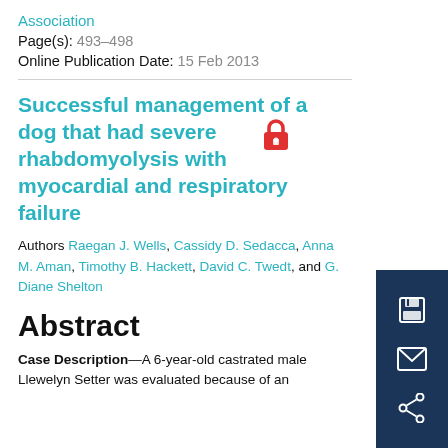Association
Page(s): 493–498
Online Publication Date: 15 Feb 2013
Successful management of a dog that had severe rhabdomyolysis with myocardial and respiratory failure
Authors Raegan J. Wells, Cassidy D. Sedacca, Anna M. Aman, Timothy B. Hackett, David C. Twedt, and G. Diane Shelton
Abstract
Case Description—A 6-year-old castrated male Llewelyn Setter was evaluated because of an